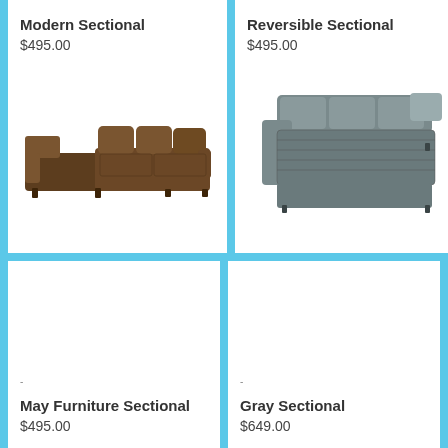Modern Sectional
$495.00
[Figure (photo): Brown fabric L-shaped sectional sofa with chaise lounge on left side]
-
May Furniture Sectional
$495.00
Reversible Sectional
$495.00
[Figure (photo): Gray/blue fabric large U-shaped or sectional sofa with multiple pieces viewed from angle]
-
Gray Sectional
$649.00